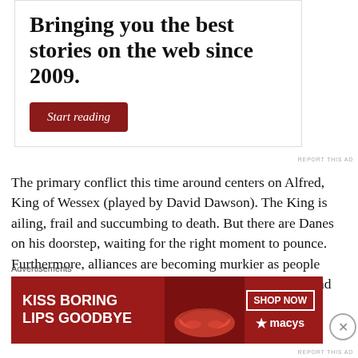Bringing you the best stories on the web since 2009.
Start reading
REPORT THIS AD
The primary conflict this time around centers on Alfred, King of Wessex (played by David Dawson). The King is ailing, frail and succumbing to death. But there are Danes on his doorstep, waiting for the right moment to pounce. Furthermore, alliances are becoming murkier as people question who will be the legitimate heir to the throne and will he be strong enough to lead Wessex in
Advertisements
[Figure (infographic): Advertisement banner for Macy's: 'KISS BORING LIPS GOODBYE' with SHOP NOW button and Macy's star logo on red background]